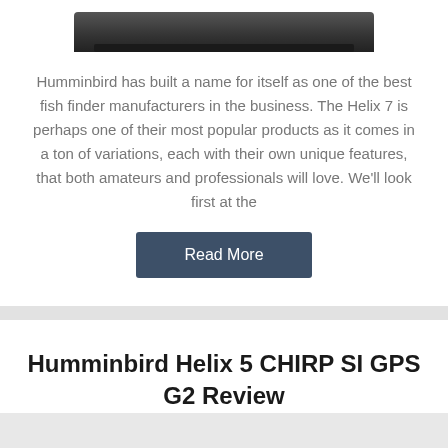[Figure (photo): Partial view of a Humminbird fish finder device at the top of the card]
Humminbird has built a name for itself as one of the best fish finder manufacturers in the business. The Helix 7 is perhaps one of their most popular products as it comes in a ton of variations, each with their own unique features, that both amateurs and professionals will love. We'll look first at the
Read More
Humminbird Helix 5 CHIRP SI GPS G2 Review